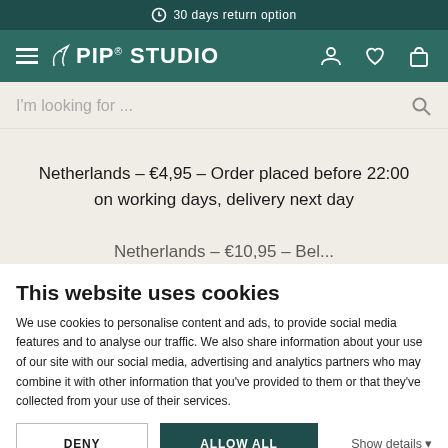30 days return option
[Figure (screenshot): Pip Studio website navigation bar with hamburger menu, bird logo, and icons for account, wishlist, and shopping bag]
I'm looking for ...
Netherlands – €4,95 – Order placed before 22:00 on working days, delivery next day
This website uses cookies
We use cookies to personalise content and ads, to provide social media features and to analyse our traffic. We also share information about your use of our site with our social media, advertising and analytics partners who may combine it with other information that you've provided to them or that they've collected from your use of their services.
DENY
ALLOW ALL
Show details